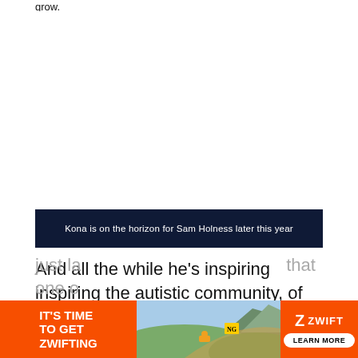grow.
[Figure (photo): Photo of Sam Holness, triathlete, on the horizon for Kona later this year]
Kona is on the horizon for Sam Holness later this year
And all the while he's inspiring inspiring the autistic community, of which there are an estimated 80 million individuals globally. The latest example coming
just la… that one o…
[Figure (infographic): Zwift advertisement banner: IT'S TIME TO GET ZWIFTING with a landscape cycling photo and ZWIFT LEARN MORE button]